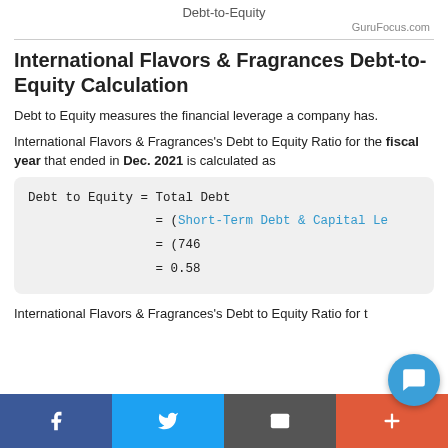Debt-to-Equity
GuruFocus.com
International Flavors & Fragrances Debt-to-Equity Calculation
Debt to Equity measures the financial leverage a company has.
International Flavors & Fragrances’s Debt to Equity Ratio for the fiscal year that ended in Dec. 2021 is calculated as
International Flavors & Fragrances’s Debt to Equity Ratio for t…